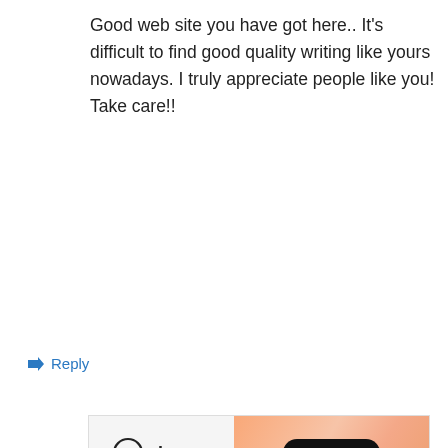Good web site you have got here.. It's difficult to find good quality writing like yours nowadays. I truly appreciate people like you! Take care!!
↪ Reply
[Figure (other): WordPress VIP advertisement banner with logo on left and 'Learn more →' button on orange gradient background]
REPORT THIS AD
Privacy & Cookies: This site uses cookies. By continuing to use this website, you agree to their use. To find out more, including how to control cookies, see here: Cookie Policy
Close and accept